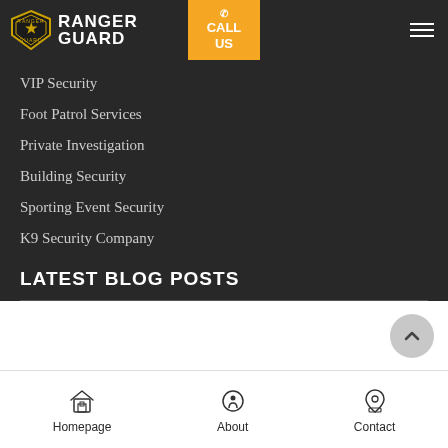Ranger Guard
VIP Security
Foot Patrol Services
Private Investigation
Building Security
Sporting Event Security
K9 Security Company
LATEST BLOG POSTS
Homepage | About | Contact